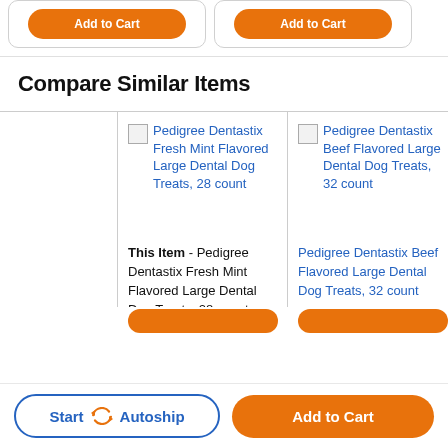[Figure (screenshot): Top portion showing two orange 'Add to Cart' buttons inside rounded card containers, partially visible at top of page]
Compare Similar Items
|  | Pedigree Dentastix Fresh Mint Flavored Large Dental Dog Treats, 28 count | Pedigree Dentastix Beef Flavored Large Dental Dog Treats, 32 count | D M D T 1 |
| --- | --- | --- | --- |
|  | This Item - Pedigree Dentastix Fresh Mint Flavored Large Dental Dog Treats, 28 count | Pedigree Dentastix Beef Flavored Large Dental Dog Treats, 32 count | P M T |
|  | [Add to Cart button] | [Add to Cart button] |  |
Start Autoship
Add to Cart